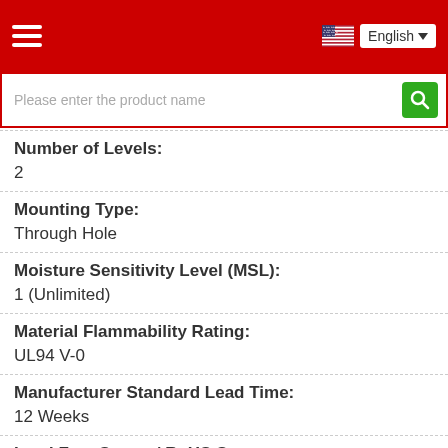English
Please enter the product name
Number of Levels:
2
Mounting Type:
Through Hole
Moisture Sensitivity Level (MSL):
1 (Unlimited)
Material Flammability Rating:
UL94 V-0
Manufacturer Standard Lead Time:
12 Weeks
Lead Free Status / RoHS Status:
Lead free / RoHS Compliant
Insulation Height: